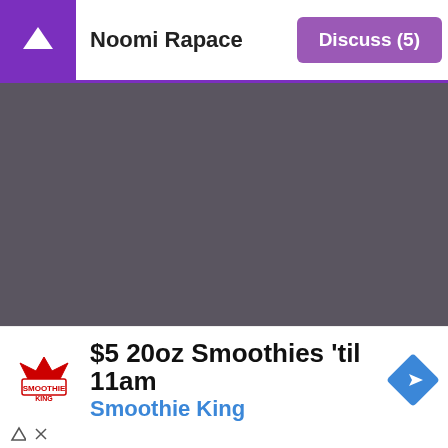Noomi Rapace   Discuss (5)
[Figure (photo): Dark gray/purple movie still image with caption 'Shot from the movie «The Drop»']
Shot from the movie «The Drop»
In addition to her native Swedish language, Noomi is fluent in Icelandic, Danish, Norwegian, and English.
[Figure (screenshot): Smoothie King advertisement: $5 20oz Smoothies 'til 11am]